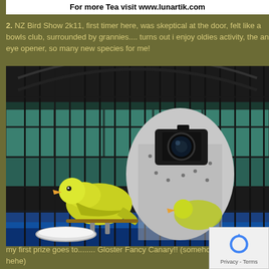For more Tea visit www.lunartik.com
2. NZ Bird Show 2k11, first timer here, was skeptical at the door, felt like a bowls club, surrounded by grannies.... turns out i enjoy oldies activity, the an eye opener, so many new species for me!
[Figure (photo): Person photographing yellow canary birds through the bars of a large domed birdcage at a bird show. The photographer holds a camera up to their face, and two yellow Gloster Fancy Canaries are visible in the foreground of the cage.]
my first prize goes to........ Gloster Fancy Canary!! (somehow Light?? hehe)